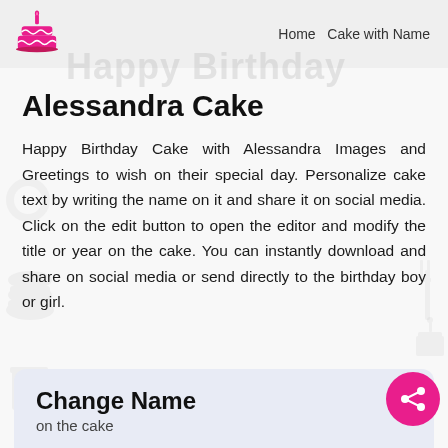Home  Cake with Name
[Figure (logo): Pink birthday cake emoji/icon with candle]
Happy Birthday
Alessandra Cake
Happy Birthday Cake with Alessandra Images and Greetings to wish on their special day. Personalize cake text by writing the name on it and share it on social media. Click on the edit button to open the editor and modify the title or year on the cake. You can instantly download and share on social media or send directly to the birthday boy or girl.
Change Name
on the cake